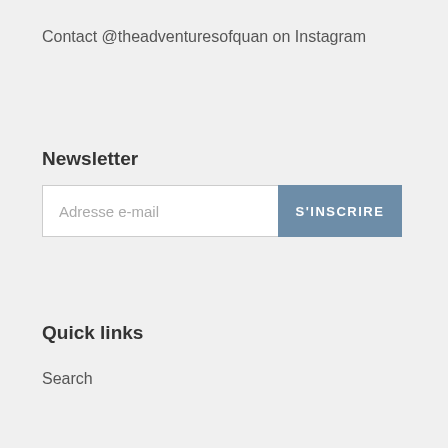Contact @theadventuresofquan on Instagram
Newsletter
Adresse e-mail
S'INSCRIRE
Quick links
Search